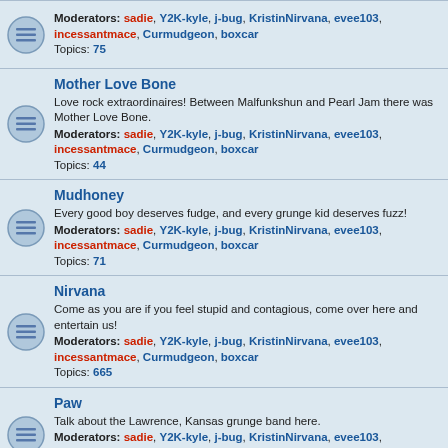Moderators: sadie, Y2K-kyle, j-bug, KristinNirvana, evee103, incessantmace, Curmudgeon, boxcar
Topics: 75
Mother Love Bone
Love rock extraordinaires! Between Malfunkshun and Pearl Jam there was Mother Love Bone.
Moderators: sadie, Y2K-kyle, j-bug, KristinNirvana, evee103, incessantmace, Curmudgeon, boxcar
Topics: 44
Mudhoney
Every good boy deserves fudge, and every grunge kid deserves fuzz!
Moderators: sadie, Y2K-kyle, j-bug, KristinNirvana, evee103, incessantmace, Curmudgeon, boxcar
Topics: 71
Nirvana
Come as you are if you feel stupid and contagious, come over here and entertain us!
Moderators: sadie, Y2K-kyle, j-bug, KristinNirvana, evee103, incessantmace, Curmudgeon, boxcar
Topics: 665
Paw
Talk about the Lawrence, Kansas grunge band here.
Moderators: sadie, Y2K-kyle, j-bug, KristinNirvana, evee103, incessantmace, Curmudgeon, boxcar
Topics: 20
Pearl Jam
Talk about Seattles finest, Pearl Jam here.
Moderators: sadie, Y2K-kyle, j-bug, KristinNirvana, evee103, incessantmace, Curmudgeon, boxcar
Topics: 276